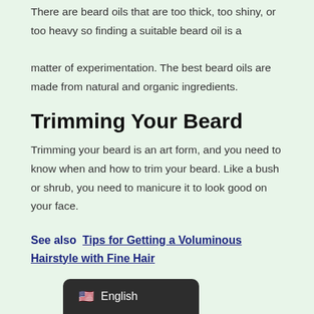There are beard oils that are too thick, too shiny, or too heavy so finding a suitable beard oil is a matter of experimentation. The best beard oils are made from natural and organic ingredients.
Trimming Your Beard
Trimming your beard is an art form, and you need to know when and how to trim your beard. Like a bush or shrub, you need to manicure it to look good on your face.
See also  Tips for Getting a Voluminous Hairstyle with Fine Hair
English